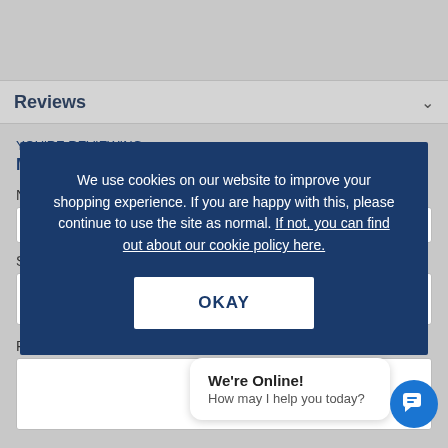Reviews
YOU'RE REVIEWING:
MORTAR POINTING GUN KIT
We use cookies on our website to improve your shopping experience. If you are happy with this, please continue to use the site as normal. If not, you can find out about our cookie policy here.
OKAY
Review *
We're Online! How may I help you today?